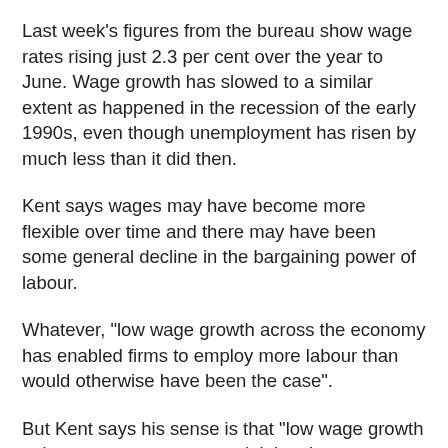Last week's figures from the bureau show wage rates rising just 2.3 per cent over the year to June. Wage growth has slowed to a similar extent as happened in the recession of the early 1990s, even though unemployment has risen by much less than it did then.
Kent says wages may have become more flexible over time and there may have been some general decline in the bargaining power of labour.
Whatever, "low wage growth across the economy has enabled firms to employ more labour than would otherwise have been the case".
But Kent says his sense is that "low wage growth only goes some way to explaining the recent pick-up in labour demand".
Now the likely role of a change in the composition of economic activity. Consumer spending, home building and net exports of services (that is, exports of services minus imports of services) have grown reasonably strongly over the